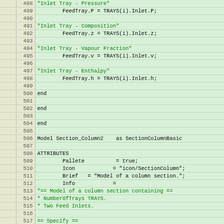[Figure (screenshot): Source code listing with line numbers 488-520, showing EML/EMSO model code for a Section_Column2 model with inlet tray assignments and attributes.]